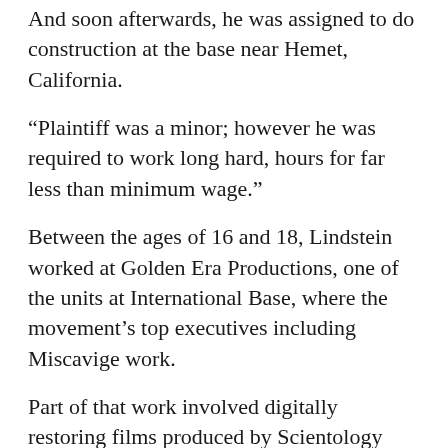And soon afterwards, he was assigned to do construction at the base near Hemet, California.
“Plaintiff was a minor; however he was required to work long hard, hours for far less than minimum wage.”
Between the ages of 16 and 18, Lindstein worked at Golden Era Productions, one of the units at International Base, where the movement’s top executives including Miscavige work.
Part of that work involved digitally restoring films produced by Scientology founder L. Ron Hubbard in the 1970s.
“This was tedious, frame-by-frame work that would normally cost more than $400,000 per movie to accomplish at industry rates,” notes the lawsuit.
Lindstein and the team of five that worked with him did it